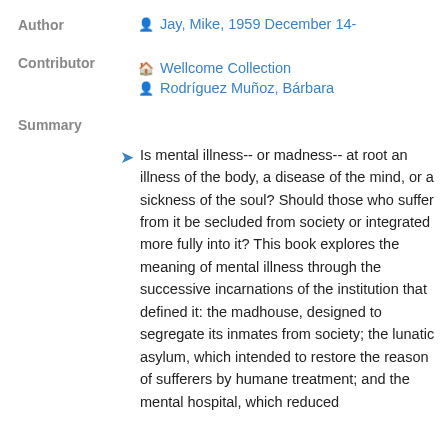Author
Jay, Mike, 1959 December 14-
Contributor
Wellcome Collection
Rodríguez Muñoz, Bárbara
Summary
Is mental illness-- or madness-- at root an illness of the body, a disease of the mind, or a sickness of the soul? Should those who suffer from it be secluded from society or integrated more fully into it? This book explores the meaning of mental illness through the successive incarnations of the institution that defined it: the madhouse, designed to segregate its inmates from society; the lunatic asylum, which intended to restore the reason of sufferers by humane treatment; and the mental hospital, which reduced